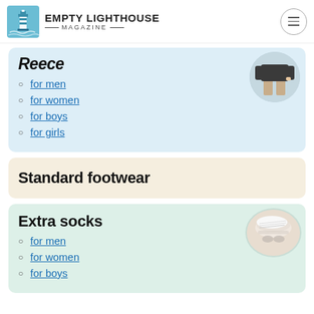Empty Lighthouse Magazine
Reece
for men
for women
for boys
for girls
Standard footwear
Extra socks
for men
for women
for boys